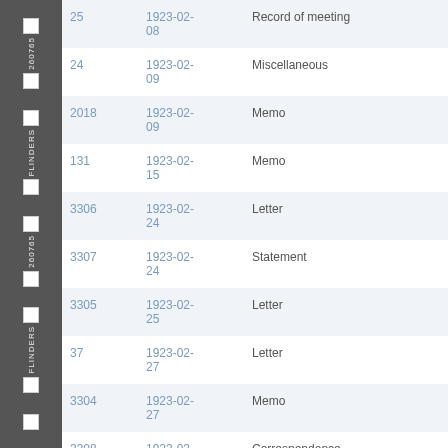| ID | Date | Type |
| --- | --- | --- |
| 25 | 1923-02-08 | Record of meeting |
| 24 | 1923-02-09 | Miscellaneous |
| 2018 | 1923-02-09 | Memo |
| 131 | 1923-02-15 | Memo |
| 3306 | 1923-02-24 | Letter |
| 3307 | 1923-02-24 | Statement |
| 3305 | 1923-02-25 | Letter |
| 37 | 1923-02-27 | Letter |
| 3304 | 1923-02-27 | Memo |
| 3308 | 1923-03- | Correspondence |